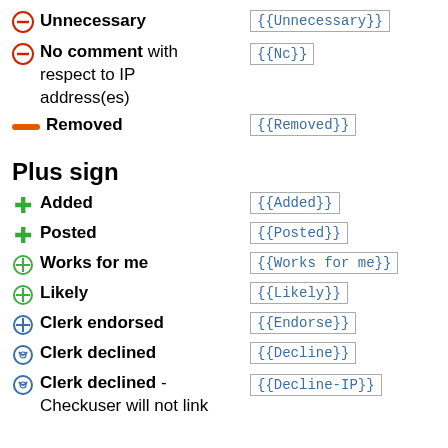Unnecessary  {{Unnecessary}}
No comment with respect to IP address(es)  {{Nc}}
Removed  {{Removed}}
Plus sign
Added  {{Added}}
Posted  {{Posted}}
Works for me  {{Works for me}}
Likely  {{Likely}}
Clerk endorsed  {{Endorse}}
Clerk declined  {{Decline}}
Clerk declined - Checkuser will not link ... to IP address the  {{Decline-IP}}